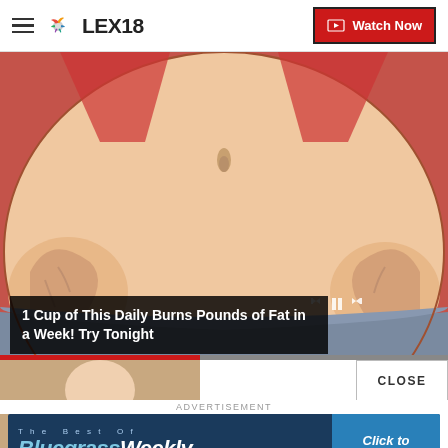LEX18 | Watch Now
[Figure (illustration): Cartoon illustration of an overweight person's midsection wearing a blue waistband, with video player controls overlaid at the bottom right and a progress bar at the bottom.]
1 Cup of This Daily Burns Pounds of Fat in a Week! Try Tonight
[Figure (photo): Partial thumbnail image visible at bottom left of page.]
CLOSE
ADVERTISEMENT
[Figure (other): BluegrassWeekly newsletter advertisement banner for LEX18. Text reads: The Best Of BluegrassWeekly Newsletter, LEX18 - Click to Subscribe]